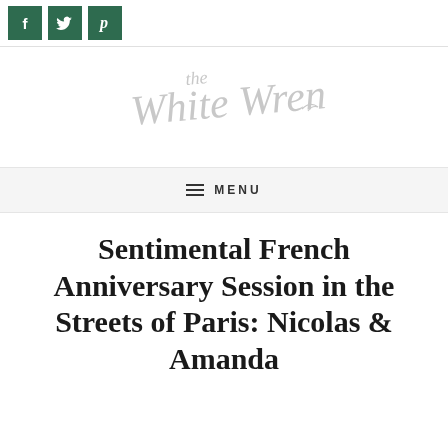Social share icons: Facebook, Twitter, Pinterest
[Figure (logo): The White Wren cursive script logo in light gray]
MENU
Sentimental French Anniversary Session in the Streets of Paris: Nicolas & Amanda